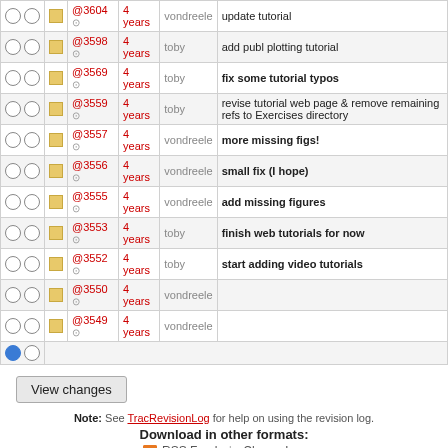|  |  |  | Rev |  | Age | Author | Log Message |
| --- | --- | --- | --- | --- | --- | --- | --- |
| ○ | ○ | □ | @3604 | ⚙ | 4 years | vondreele | update tutorial |
| ○ | ○ | □ | @3598 | ⚙ | 4 years | toby | add publ plotting tutorial |
| ○ | ○ | □ | @3569 | ⚙ | 4 years | toby | fix some tutorial typos |
| ○ | ○ | □ | @3559 | ⚙ | 4 years | toby | revise tutorial web page & remove remaining refs to Exercises directory |
| ○ | ○ | □ | @3557 | ⚙ | 4 years | vondreele | more missing figs! |
| ○ | ○ | □ | @3556 | ⚙ | 4 years | vondreele | small fix (I hope) |
| ○ | ○ | □ | @3555 | ⚙ | 4 years | vondreele | add missing figures |
| ○ | ○ | □ | @3553 | ⚙ | 4 years | toby | finish web tutorials for now |
| ○ | ○ | □ | @3552 | ⚙ | 4 years | toby | start adding video tutorials |
| ○ | ○ | □ | @3550 | ⚙ | 4 years | vondreele |  |
| ○ | ○ | □ | @3549 | ⚙ | 4 years | vondreele |  |
| ● | ○ |  |  |  |  |  |  |
View changes
Note: See TracRevisionLog for help on using the revision log.
Download in other formats: RSS Feed | ChangeLog
Powered by Trac 1.0.13 By Edgewall Software. Visit the Trac open source project at http://trac.edgewall.org/